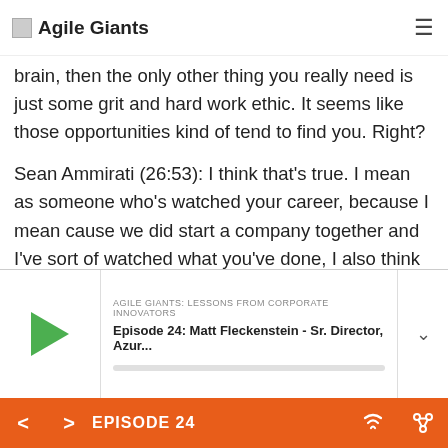Agile Giants
brain, then the only other thing you really need is just some grit and hard work ethic. It seems like those opportunities kind of tend to find you. Right?
Sean Ammirati (26:53): I think that's true. I mean as someone who's watched your career, because I mean cause we did start a company together and I've sort of watched what you've done, I also think you're pretty fearless on taking big swings, which is
AGILE GIANTS: LESSONS FROM CORPORATE INNOVATORS
Episode 24: Matt Fleckenstein - Sr. Director, Azur...
EPISODE 24